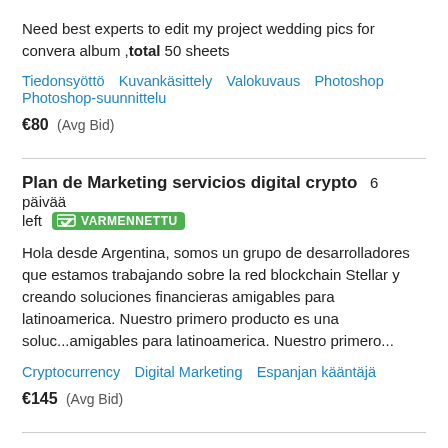Need best experts to edit my project wedding pics for convera album ,total 50 sheets
Tiedonsyöttö  Kuvankäsittely  Valokuvaus  Photoshop  Photoshop-suunnittelu
€80  (Avg Bid)
Plan de Marketing servicios digital crypto  6 päivää left  VARMENNETTU
Hola desde Argentina, somos un grupo de desarrolladores que estamos trabajando sobre la red blockchain Stellar y creando soluciones financieras amigables para latinoamerica. Nuestro primero producto es una soluc...amigables para latinoamerica. Nuestro primero...
Cryptocurrency  Digital Marketing  Espanjan kääntäjä
€145  (Avg Bid)